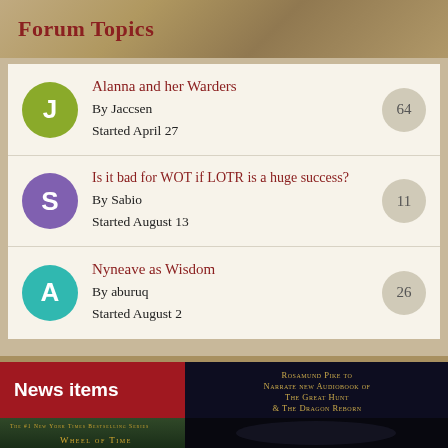Forum Topics
Alanna and her Warders
By Jaccsen
Started April 27
64
Is it bad for WOT if LOTR is a huge success?
By Sabio
Started August 13
11
Nyneave as Wisdom
By aburuq
Started August 2
26
News items
[Figure (illustration): Wheel of Time TV show cover image with characters]
[Figure (photo): Rosamund Pike to Narrate new Audiobook of The Great Hunt & The Dragon Reborn — photo of Rosamund Pike]